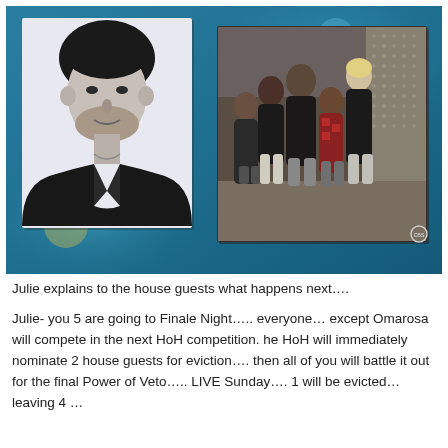[Figure (screenshot): A TV screenshot showing two images side by side on a teal/blue background: on the left, a black-and-white headshot of a young man with dark hair and stubble wearing a leather jacket; on the right, a color photo of five people (contestants) standing together in a room that appears to be a TV studio set.]
Julie explains to the house guests what happens next….
Julie- you 5 are going to Finale Night….. everyone… except Omarosa will compete in the next HoH competition. he HoH will immediately nominate 2 house guests for eviction…. then all of you will battle it out for the final Power of Veto….. LIVE Sunday…. 1 will be evicted… leaving 4 …